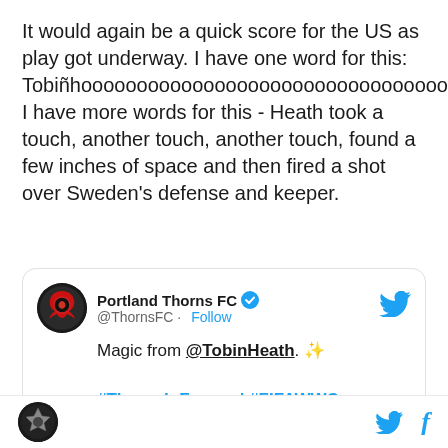It would again be a quick score for the US as play got underway. I have one word for this: Tobiñhooooooooooooooooooooooooooooooooo. I have more words for this - Heath took a touch, another touch, another touch, found a few inches of space and then fired a shot over Sweden's defense and keeper.
[Figure (screenshot): Embedded tweet from @ThornsFC (Portland Thorns FC) with verified badge, showing: 'Magic from @TobinHeath. ✨' and '#ThornsInFrance | #FIFAWWC snappytv.com/tc/11411676/81...']
Portland Thorns FC logo | Twitter bird icon | f (Facebook icon)